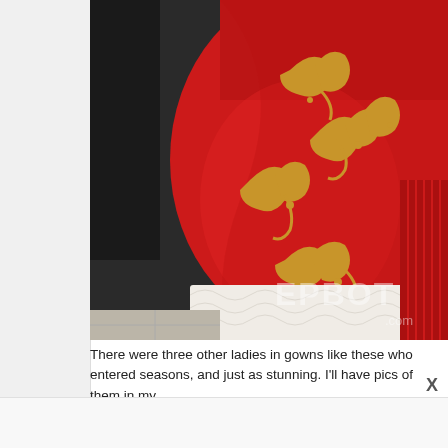[Figure (photo): Photo of a woman in a red satin ballgown with gold floral embroidery and white lace trim at the hem, watermarked with EPBOT.com]
There were three other ladies in gowns like these who entered seasons, and just as stunning. I'll have pics of them in my